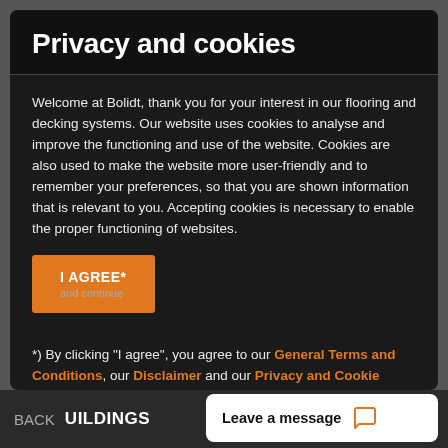Privacy and cookies
Welcome at Bolidt, thank you for your interest in our flooring and decking systems. Our website uses cookies to analyse and improve the functioning and use of the website. Cookies are also used to make the website more user-friendly and to remember your preferences, so that you are shown information that is relevant to you. Accepting cookies is necessary to enable the proper functioning of websites.
I AGREE*
*) By clicking "I agree", you agree to our General Terms and Conditions, our Disclaimer and our Privacy and Cookie Statement.
BACK  UILDINGS  Leave a message